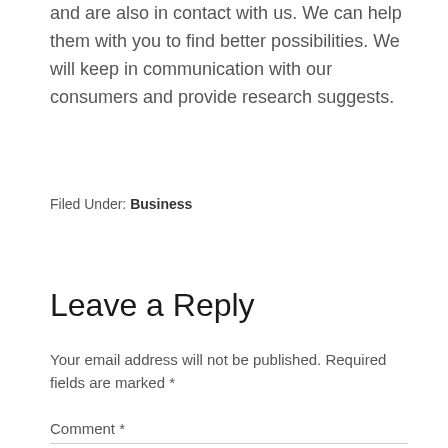and are also in contact with us. We can help them with you to find better possibilities. We will keep in communication with our consumers and provide research suggests.
Filed Under: Business
Leave a Reply
Your email address will not be published. Required fields are marked *
Comment *